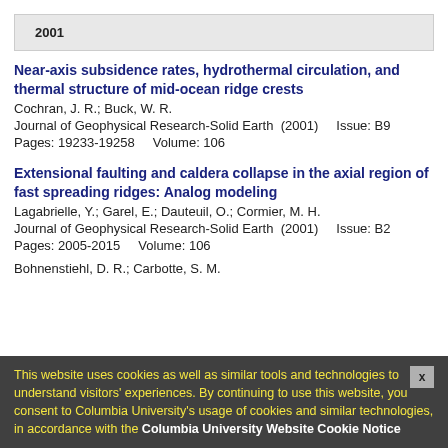2001
Near-axis subsidence rates, hydrothermal circulation, and thermal structure of mid-ocean ridge crests
Cochran, J. R.; Buck, W. R.
Journal of Geophysical Research-Solid Earth  (2001)    Issue: B9
Pages: 19233-19258    Volume: 106
Extensional faulting and caldera collapse in the axial region of fast spreading ridges: Analog modeling
Lagabrielle, Y.; Garel, E.; Dauteuil, O.; Cormier, M. H.
Journal of Geophysical Research-Solid Earth  (2001)    Issue: B2
Pages: 2005-2015    Volume: 106
Bohnenstiehl, D. R.; Carbotte, S. M.
This website uses cookies as well as similar tools and technologies to understand visitors' experiences. By continuing to use this website, you consent to Columbia University's usage of cookies and similar technologies, in accordance with the Columbia University Website Cookie Notice